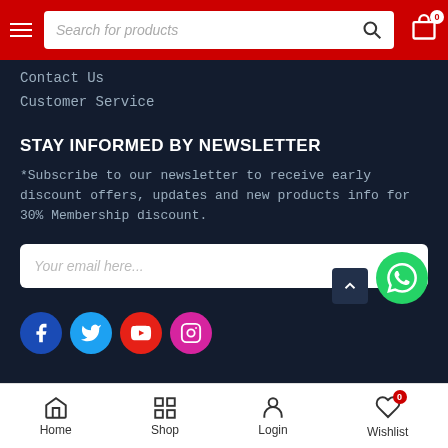Search for products [search bar] [cart icon] 0
Contact Us
Customer Service
STAY INFORMED BY NEWSLETTER
*Subscribe to our newsletter to receive early discount offers, updates and new products info for 30% Membership discount.
Your email here... [send button]
[Figure (infographic): Social media icons: Facebook (blue circle), Twitter (light blue circle), YouTube (red circle), Instagram (pink/magenta circle)]
Home | Shop | Login | Wishlist 0